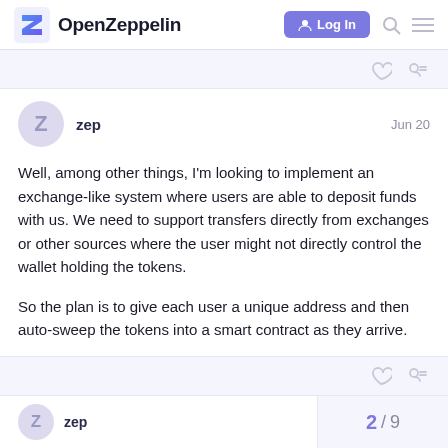OpenZeppelin — Log In
Well, among other things, I'm looking to implement an exchange-like system where users are able to deposit funds with us. We need to support transfers directly from exchanges or other sources where the user might not directly control the wallet holding the tokens.

So the plan is to give each user a unique address and then auto-sweep the tokens into a smart contract as they arrive.
zep  Jun 20
zep  2 / 9